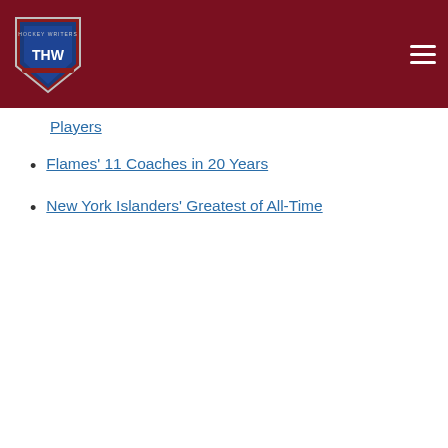[Figure (logo): THW hockey website logo - shield shaped logo with THW text, on dark red header bar with hamburger menu icon]
Players
Flames' 11 Coaches in 20 Years
New York Islanders' Greatest of All-Time